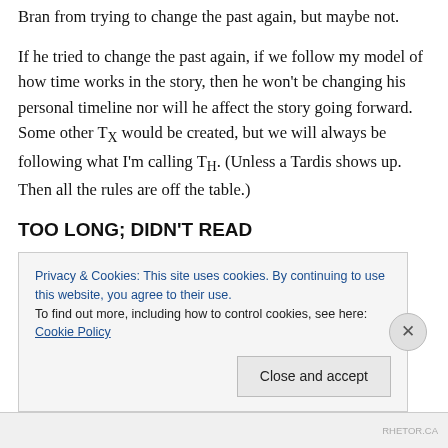Bran from trying to change the past again, but maybe not.
If he tried to change the past again, if we follow my model of how time works in the story, then he won't be changing his personal timeline nor will he affect the story going forward. Some other T_X would be created, but we will always be following what I'm calling T_H. (Unless a Tardis shows up. Then all the rules are off the table.)
TOO LONG; DIDN'T READ
I totally understand if you skipped over all that. Here's a
Privacy & Cookies: This site uses cookies. By continuing to use this website, you agree to their use.
To find out more, including how to control cookies, see here: Cookie Policy
Close and accept